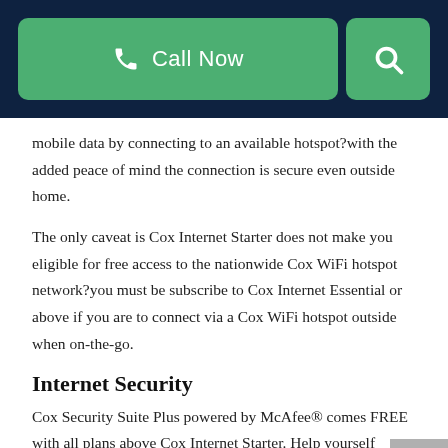[Figure (screenshot): Navigation header bar with dark navy background, green 'Call Now' button with phone icon, and green search icon button]
mobile data by connecting to an available hotspot?with the added peace of mind the connection is secure even outside home.
The only caveat is Cox Internet Starter does not make you eligible for free access to the nationwide Cox WiFi hotspot network?you must be subscribe to Cox Internet Essential or above if you are to connect via a Cox WiFi hotspot outside when on-the-go.
Internet Security
Cox Security Suite Plus powered by McAfee® comes FREE with all plans above Cox Internet Starter. Help yourself